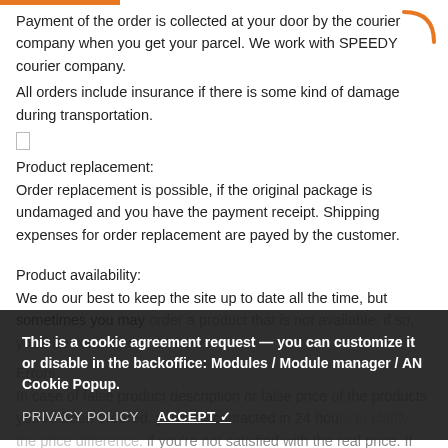Payment of the order is collected at your door by the courier company when you get your parcel. We work with SPEEDY courier company.
All orders include insurance if there is some kind of damage during transportation.
Product replacement:
Order replacement is possible, if the original package is undamaged and you have the payment receipt. Shipping expenses for order replacement are payed by the customer.
Product availability:
We do our best to keep the site up to date all the time, but sometimes you may order a product that is not available, if so, you'll be contacted in 24 hours.
Errors:
In case of false product description or false price of the products you've been ordered, you'll be contacted in 24 hours to clarify the price difference. If you're not satisfied with the real price. If you locate some strange product description or suspicious pricing, please drop us a line at
This is a cookie agreement request — you can customize it or disable in the backoffice: Modules / Module manager / AN Cookie Popup.
PRIVACY POLICY   ACCEPT ✓